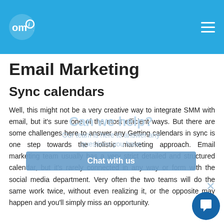omi (logo) / hamburger menu
Email Marketing
Sync calendars
Well, this might not be a very creative way to integrate SMM with email, but it's sure one of the most efficient ways. But there are some challenges here to answer any Getting calendars in sync is one step towards the holistic marketing approach. Email marketing team usually has a very strict detailed and structured calendar, but it's rarely connected in any way or form with the social media department. Very often the two teams will do the same work twice, without even realizing it, or the opposite may happen and you'll simply miss an opportunity.